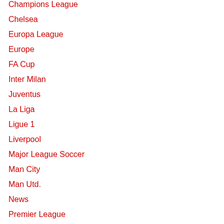Champions League
Chelsea
Europa League
Europe
FA Cup
Inter Milan
Juventus
La Liga
Ligue 1
Liverpool
Major League Soccer
Man City
Man Utd.
News
Premier League